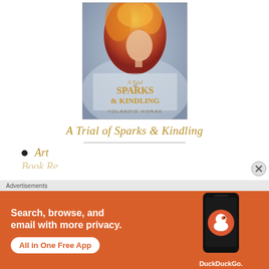[Figure (illustration): Book cover of 'A Trial of Sparks & Kindling' by Yolandie Horak. Features a woman with fiery red/orange hair and flames, gray misty background, ornate gold lettering for title, author name at bottom.]
A Trial of Sparks & Kindling
Art
[Figure (screenshot): DuckDuckGo advertisement banner with orange background. Text: 'Search, browse, and email with more privacy. All in One Free App'. Shows a smartphone with DuckDuckGo app and logo.]
Advertisements